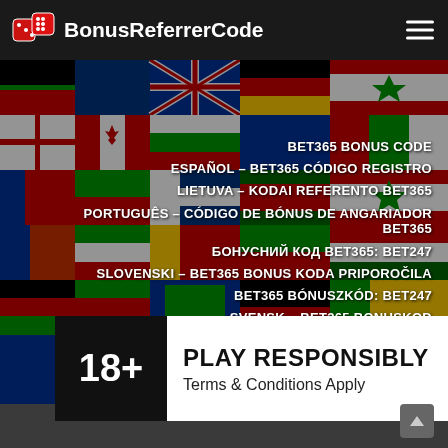BonusReferrerCode
BET365 BONUS CODE
ESPAÑOL – BET365 CÓDIGO REGISTRO
LIETUVA – KODAI REFERENTO BET365
PORTUGUÊS – CÓDIGO DE BÓNUS DE ANGARIADOR BET365
БОНУСНИЙ КОД BET365: BET247
SLOVENSKI – BET365 BONUS KODA PRIPOROČILA
BET365 BÓNUSZKÓD: BET247
SVENSK – BET365 BONUSKOD
18+ PLAY RESPONSIBLY Terms & Conditions Apply